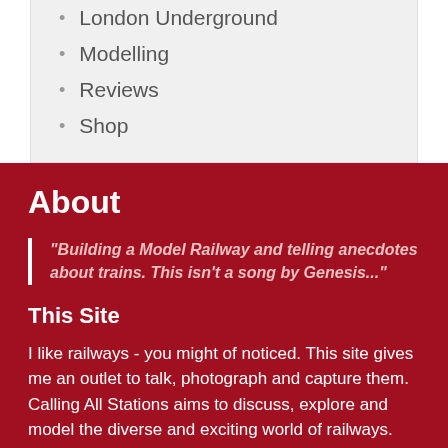London Underground
Modelling
Reviews
Shop
About
"Building a Model Railway and telling anecdotes about trains. This isn't a song by Genesis..."
This Site
I like railways - you might of noticed. This site gives me an outlet to talk, photograph and capture them. Calling All Stations aims to discuss, explore and model the diverse and exciting world of railways.
More About Me